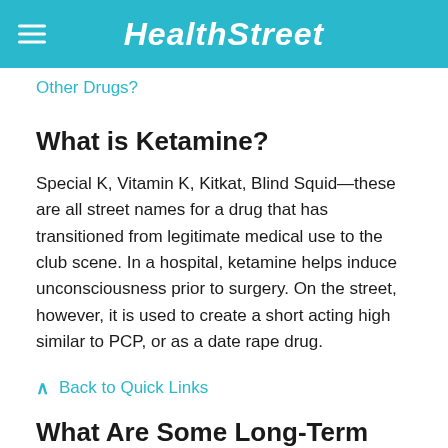HEALTHSTREET
Other Drugs?
What is Ketamine?
Special K, Vitamin K, Kitkat, Blind Squid—these are all street names for a drug that has transitioned from legitimate medical use to the club scene. In a hospital, ketamine helps induce unconsciousness prior to surgery. On the street, however, it is used to create a short acting high similar to PCP, or as a date rape drug.
Back to Quick Links
What Are Some Long-Term Risks of